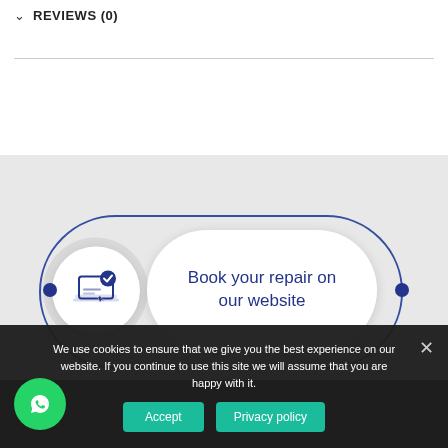REVIEWS (0)
[Figure (infographic): Booking widget with circular icon (laptop with checkmark), blue oval track, blue dots at left and right, and white pill button with text 'Book your repair on our website']
We use cookies to ensure that we give you the best experience on our website. If you continue to use this site we will assume that you are happy with it.
Accept
Privacy policy